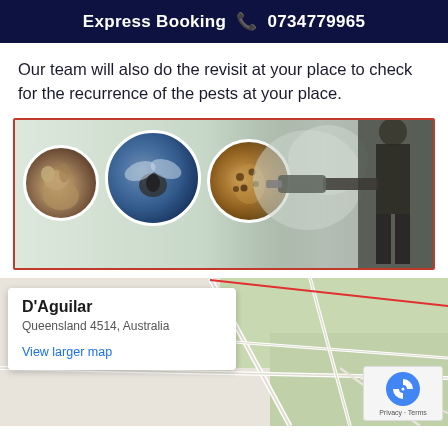Express Booking 📞 0734779965
Our team will also do the revisit at your place to check for the recurrence of the pests at your place.
[Figure (photo): Pest control image showing three circular photos of a squirrel, a fly, and termites on a light green background, alongside a person in dark clothing using a fumigation sprayer machine outdoors.]
[Figure (map): Google Maps screenshot showing D'Aguilar, Queensland 4514, Australia with roads, green areas, and a red boundary line. An info box shows the location name, address, and a 'View larger map' link. A reCAPTCHA badge appears in the bottom right.]